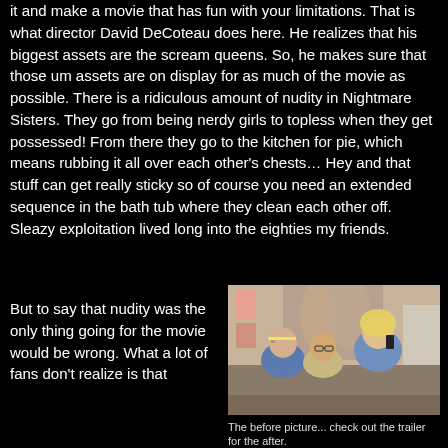it and make a movie that has fun with your limitations. That is what director David DeCoteau does here. He realizes that his biggest assets are the scream queens. So, he makes sure that those um assets are on display for as much of the movie as possible. There is a ridiculous amount of nudity in Nightmare Sisters. They go from being nerdy girls to topless when they get possessed! From there they go to the kitchen for pie, which means rubbing it all over each other's chests… Hey and that stuff can get really sticky so of course you need an extended sequence in the bath tub where they clean each other off. Sleazy exploitation lived long into the eighties my friends.
But to say that nudity was the only thing going for the movie would be wrong. What a lot of fans don't realize is that
[Figure (photo): A still from the movie Nightmare Sisters showing three young women in a room, one with glasses and a headband, one in the middle, and one with curly blonde hair on the right talking on a phone. Posters visible in background.]
The before picture... check out the trailer for the after.